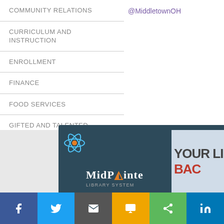COMMUNITY RELATIONS
CURRICULUM AND INSTRUCTION
ENROLLMENT
FINANCE
FOOD SERVICES
GIFTED AND TALENTED EDUCATION
HEALTH SERVICES
HUMAN RESOURCES
@MiddletownOH
Ride Along: Part 1
Before physical/social distancing, officers visited regularly with teens in the area. We know those days will come back. Follow this 3-part series as we ride along, cheer house, and experience
[Figure (logo): MidPointe Library System logo on dark teal banner]
[Figure (screenshot): Billboard showing YOUR LIBRARY BACK]
f  Twitter  Email  SMS  Share  in